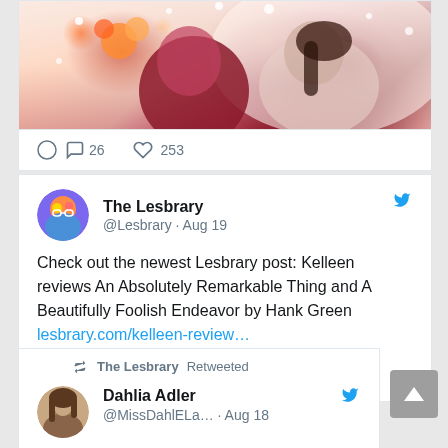[Figure (illustration): Illustrated artwork showing two figures in snow, one with dark hair and burgundy clothing, warm tones with falling snow]
26  253
The Lesbrary @Lesbrary · Aug 19
Check out the newest Lesbrary post: Kelleen reviews An Absolutely Remarkable Thing and A Beautifully Foolish Endeavor by Hank Green lesbrary.com/kelleen-review…
3
The Lesbrary Retweeted
Dahlia Adler @MissDahlELa… · Aug 18
I cannot get over this will never be over